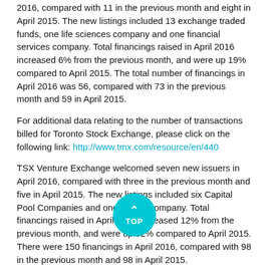2016, compared with 11 in the previous month and eight in April 2015. The new listings included 13 exchange traded funds, one life sciences company and one financial services company. Total financings raised in April 2016 increased 6% from the previous month, and were up 19% compared to April 2015. The total number of financings in April 2016 was 56, compared with 73 in the previous month and 59 in April 2015.
For additional data relating to the number of transactions billed for Toronto Stock Exchange, please click on the following link: http://www.tmx.com/resource/en/440
TSX Venture Exchange welcomed seven new issuers in April 2016, compared with three in the previous month and five in April 2015. The new listings included six Capital Pool Companies and one mining company. Total financings raised in April 2016 increased 12% from the previous month, and were up 82% compared to April 2015. There were 150 financings in April 2016, compared with 98 in the previous month and 98 in April 2015.
TMX Group consolidated trading statistics for April 2016 can be viewed at www.tmx.com.